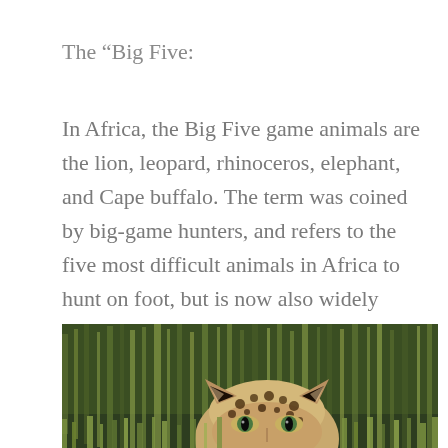The “Big Five:
In Africa, the Big Five game animals are the lion, leopard, rhinoceros, elephant, and Cape buffalo. The term was coined by big-game hunters, and refers to the five most difficult animals in Africa to hunt on foot, but is now also widely used by safari tour operators.
[Figure (photo): Close-up photo of a leopard partially hidden behind tall green grass, showing the top of its spotted head and eyes peering forward.]